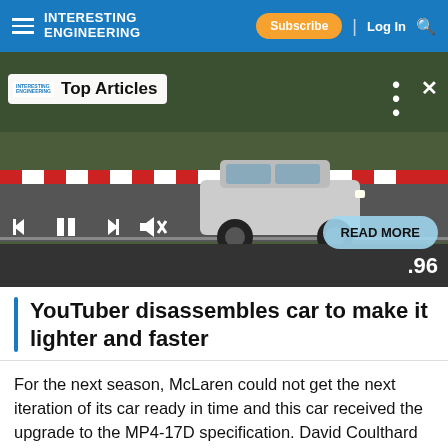INTERESTING ENGINEERING — Subscribe | Log In
[Figure (screenshot): Video player showing a silver SUV on a racing circuit. Overlay shows 'Top Articles' popup with Interesting Engineering logo, media controls (previous, pause, next, mute), a 'READ MORE' button, and a counter showing .96]
YouTuber disassembles car to make it lighter and faster
For the next season, McLaren could not get the next iteration of its car ready in time and this car received the upgrade to the MP4-17D specification. David Coulthard drove the car to a first-place finish in the